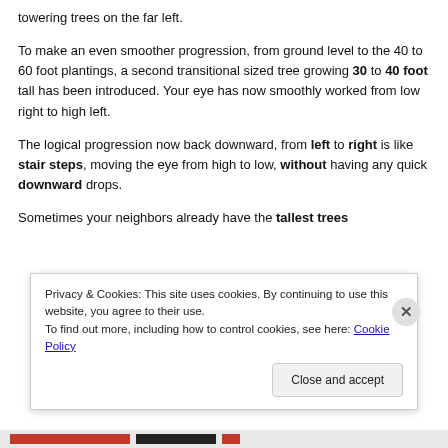towering trees on the far left.
To make an even smoother progression, from ground level to the 40 to 60 foot plantings, a second transitional sized tree growing 30 to 40 foot tall has been introduced. Your eye has now smoothly worked from low right to high left.
The logical progression now back downward, from left to right is like stair steps, moving the eye from high to low, without having any quick downward drops.
Sometimes your neighbors already have the tallest trees
Privacy & Cookies: This site uses cookies. By continuing to use this website, you agree to their use.
To find out more, including how to control cookies, see here: Cookie Policy